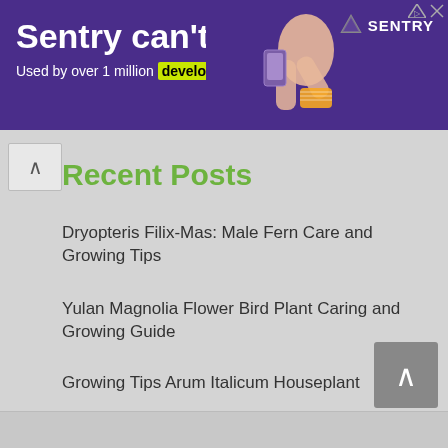[Figure (screenshot): Sentry advertisement banner with purple background. Text reads: 'Sentry can't fix this. Used by over 1 million developers globally'. Sentry logo visible on right. Illustration of person with broken arm on right side.]
Recent Posts
Dryopteris Filix-Mas: Male Fern Care and Growing Tips
Yulan Magnolia Flower Bird Plant Caring and Growing Guide
Growing Tips Arum Italicum Houseplant
European Ginger Plant Care | Asarum Europaeum care
Magnolia Susan Care and Planting Tips | Magnolia Stellate Care